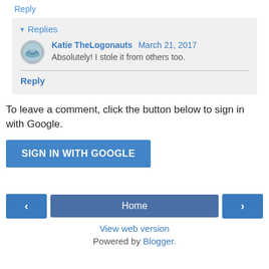Reply
▾ Replies
Katie TheLogonauts  March 21, 2017
Absolutely! I stole it from others too.
Reply
To leave a comment, click the button below to sign in with Google.
SIGN IN WITH GOOGLE
‹   Home   ›
View web version
Powered by Blogger.